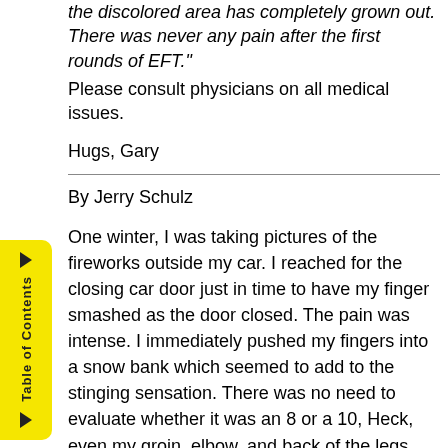the discolored area has completely grown out. There was never any pain after the first rounds of EFT." Please consult physicians on all medical issues.
Hugs, Gary
By Jerry Schulz
One winter, I was taking pictures of the fireworks outside my car. I reached for the closing car door just in time to have my finger smashed as the door closed. The pain was intense. I immediately pushed my fingers into a snow bank which seemed to add to the stinging sensation. There was no need to evaluate whether it was an 8 or a 10, Heck, even my groin, elbow, and back of the legs hurt. Once I got back into the car my wife started looking for first aid stuff in the glove compartment. I tapped everywhere including the nerve path up my right wrist all the way to the elbow. I tapped: